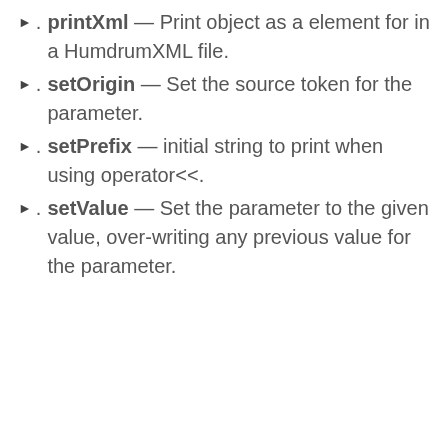. printXml — Print object as a element for in a HumdrumXML file.
. setOrigin — Set the source token for the parameter.
. setPrefix — initial string to print when using operator<<.
. setValue — Set the parameter to the given value, over-writing any previous value for the parameter.